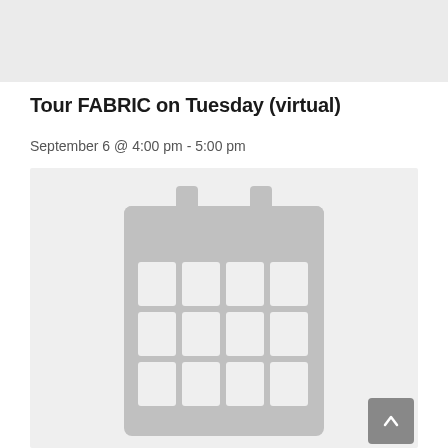[Figure (other): Gray banner/bar at top of page, partially visible]
Tour FABRIC on Tuesday (virtual)
September 6 @ 4:00 pm - 5:00 pm
[Figure (illustration): Calendar icon — gray calendar graphic on light gray background, with grid of day cells]
[Figure (other): Scroll-to-top button, dark gray rounded square with up arrow]